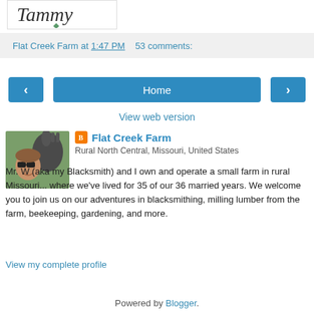[Figure (logo): Tammy script logo with small green leaf/snail icon]
Flat Creek Farm at 1:47 PM   53 comments:
[Figure (other): Navigation buttons: left arrow, Home, right arrow]
View web version
[Figure (photo): Profile photo of a woman with sunglasses next to a donkey]
Flat Creek Farm
Rural North Central, Missouri, United States
Mr. W (aka my Blacksmith) and I own and operate a small farm in rural Missouri... where we've lived for 35 of our 36 married years. We welcome you to join us on our adventures in blacksmithing, milling lumber from the farm, beekeeping, gardening, and more.
View my complete profile
Powered by Blogger.